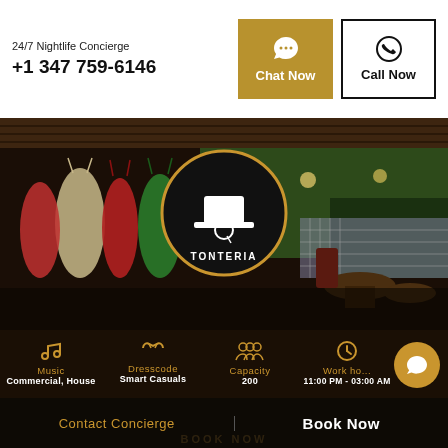24/7 Nightlife Concierge
+1 347 759-6146
Chat Now
Call Now
[Figure (photo): Interior of Tonteria nightclub/bar showing hanging hammock seats in red, green and beige tones, stone walls, bar counter with bottles, tiled walls and warm lighting. Tonteria logo (top hat with monocle) in a black and gold circle is overlaid in the center.]
Music
Commercial, House
Dresscode
Smart Casuals
Capacity
200
Working Hours
11:00 PM - 03:00 AM
Contact Concierge
Book Now